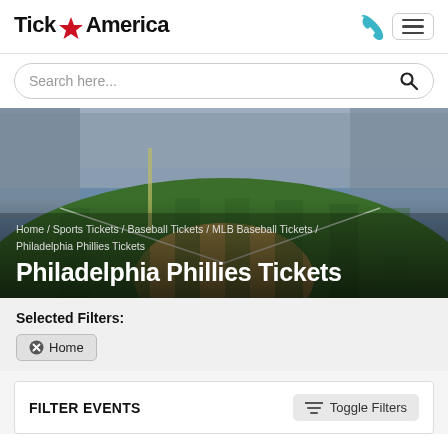Ticket America
Search here...
[Figure (photo): Aerial view of a baseball stadium with green field, dirt infield, and packed crowd in the stands]
Home / Sports Tickets / Baseball Tickets / MLB Baseball Tickets / Philadelphia Phillies Tickets
Philadelphia Phillies Tickets
Selected Filters:
Home
FILTER EVENTS
Toggle Filters